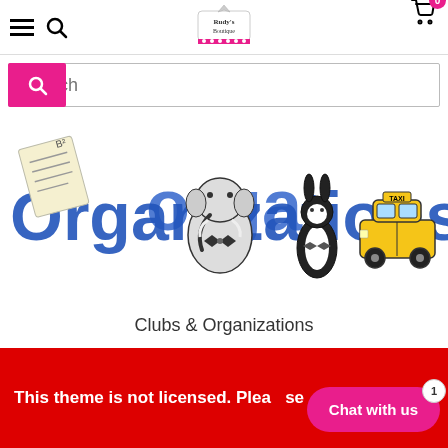Rudy's Boutique — navigation bar with hamburger menu, search icon, logo, and cart (0 items)
[Figure (screenshot): Website search bar with pink search button]
[Figure (illustration): Clubs & Organizations banner with illustrated icons: documents, elephant, penguin rabbit, taxi cab, and large blue text 'Organizations']
Clubs & Organizations
This theme is not licensed. Please...se
Chat with us